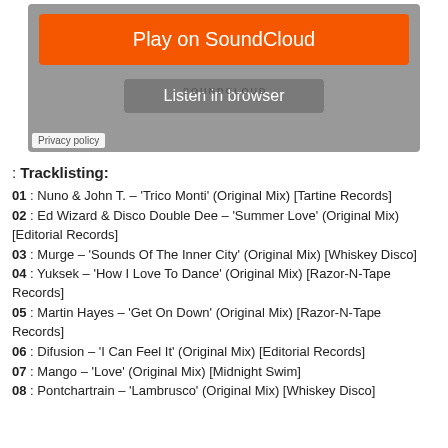[Figure (screenshot): SoundCloud embedded player widget with orange 'Play on SoundCloud' button and grey 'Listen in browser' button on grey background, with Privacy policy label]
: Tracklisting:
01 : Nuno & John T. – 'Trico Monti' (Original Mix) [Tartine Records]
02 : Ed Wizard & Disco Double Dee – 'Summer Love' (Original Mix) [Editorial Records]
03 : Murge – 'Sounds Of The Inner City' (Original Mix) [Whiskey Disco]
04 : Yuksek – 'How I Love To Dance' (Original Mix) [Razor-N-Tape Records]
05 : Martin Hayes – 'Get On Down' (Original Mix) [Razor-N-Tape Records]
06 : Difusion – 'I Can Feel It' (Original Mix) [Editorial Records]
07 : Mango – 'Love' (Original Mix) [Midnight Swim]
08 : Pontchartrain – 'Lambrusco' (Original Mix) [Whiskey Disco]